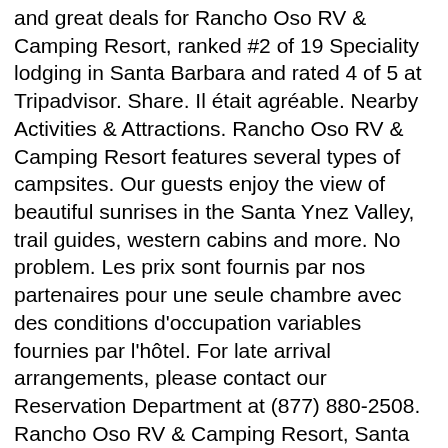and great deals for Rancho Oso RV & Camping Resort, ranked #2 of 19 Speciality lodging in Santa Barbara and rated 4 of 5 at Tripadvisor. Share. Il était agréable. Nearby Activities & Attractions. Rancho Oso RV & Camping Resort features several types of campsites. Our guests enjoy the view of beautiful sunrises in the Santa Ynez Valley, trail guides, western cabins and more. No problem. Les prix sont fournis par nos partenaires pour une seule chambre avec des conditions d'occupation variables fournies par l'hôtel. For late arrival arrangements, please contact our Reservation Department at (877) 880-2508. Rancho Oso RV & Camping Resort, Santa Barbara: See 865 traveller reviews, 158 candid photos, and great deals for Rancho Oso RV & Camping Resort, ranked #2 of 19 Speciality lodging in Santa Barbara and rated 4 of 5 at Tripadvisor. Please continue to be firewise. Bordered by Los Padres National Forest. Si vous prévoyez une activité, les attractions suivantes valent le détour : Parcours de golf Rancho San Marcos et Santa Barbara Golf Club, et si vous souhaitez magasiner, vous pouvez visiter ces endroits : Upper State Street